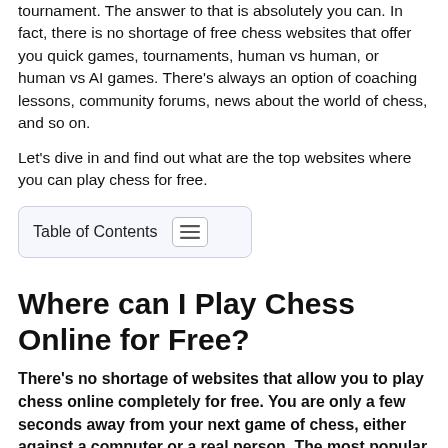tournament. The answer to that is absolutely you can. In fact, there is no shortage of free chess websites that offer you quick games, tournaments, human vs human, or human vs AI games. There's always an option of coaching lessons, community forums, news about the world of chess, and so on.
Let's dive in and find out what are the top websites where you can play chess for free.
Table of Contents
Where can I Play Chess Online for Free?
There's no shortage of websites that allow you to play chess online completely for free. You are only a few seconds away from your next game of chess, either against a computer or a real person. The most popular websites to play chess for free